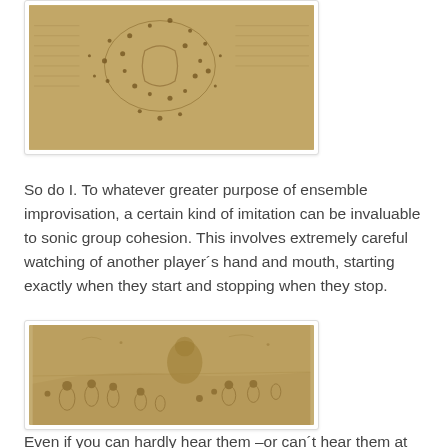[Figure (illustration): Sepia-toned historical sketch/drawing showing scattered figures and marks on aged parchment, appearing to be a Renaissance-era manuscript illustration]
So do I. To whatever greater purpose of ensemble improvisation, a certain kind of imitation can be invaluable to sonic group cohesion. This involves extremely careful watching of another player´s hand and mouth, starting exactly when they start and stopping when they stop.
[Figure (illustration): Sepia-toned historical sketch showing a large group of figures in a landscape, appearing to be a Renaissance-era drawing on aged parchment]
Even if you can hardly hear them –or can´t hear them at all-